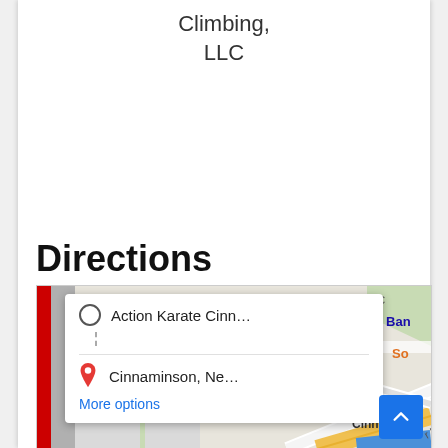Climbing, LLC
Directions
[Figure (map): Google Maps screenshot showing a directions popup with 'Action Karate Cinn...' as origin and 'Cinnaminson, Ne...' as destination, with a 'More options' link. The map shows streets near Cinnaminson including Cynthia Ct, Manor Rd, and a PNC Bank landmark. A red vertical bar appears on the left side of the map.]